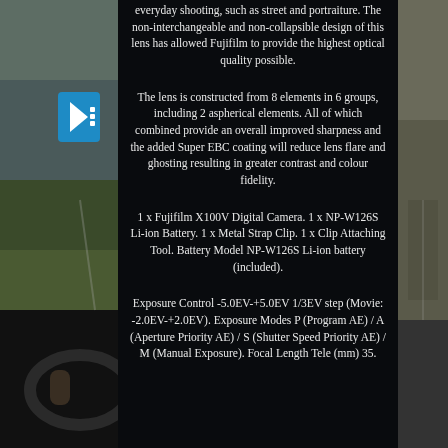[Figure (photo): Background photo of a car interior dashboard view with road and green landscape visible through windshield, dark overlay panel in center with product description text. Blue speaker/volume icon visible on left side.]
everyday shooting, such as street and portraiture. The non-interchangeable and non-collapsible design of this lens has allowed Fujifilm to provide the highest optical quality possible.
The lens is constructed from 8 elements in 6 groups, including 2 aspherical elements. All of which combined provide an overall improved sharpness and the added Super EBC coating will reduce lens flare and ghosting resulting in greater contrast and colour fidelity.
1 x Fujifilm X100V Digital Camera. 1 x NP-W126S Li-ion Battery. 1 x Metal Strap Clip. 1 x Clip Attaching Tool. Battery Model NP-W126S Li-ion battery (included).
Exposure Control -5.0EV-+5.0EV 1/3EV step (Movie: -2.0EV-+2.0EV). Exposure Modes P (Program AE) / A (Aperture Priority AE) / S (Shutter Speed Priority AE) / M (Manual Exposure). Focal Length Tele (mm) 35.